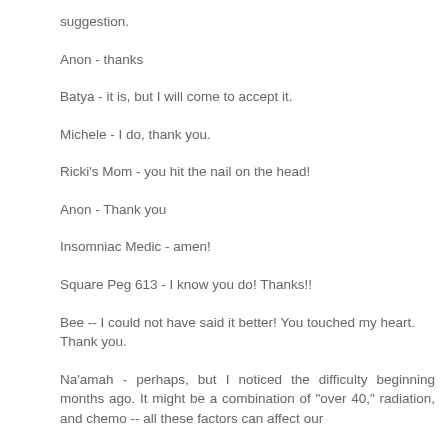suggestion.
Anon - thanks
Batya - it is, but I will come to accept it.
Michele - I do, thank you.
Ricki's Mom - you hit the nail on the head!
Anon - Thank you
Insomniac Medic - amen!
Square Peg 613 - I know you do! Thanks!!
Bee -- I could not have said it better! You touched my heart. Thank you.
Na'amah - perhaps, but I noticed the difficulty beginning months ago. It might be a combination of "over 40," radiation, and chemo -- all these factors can affect our